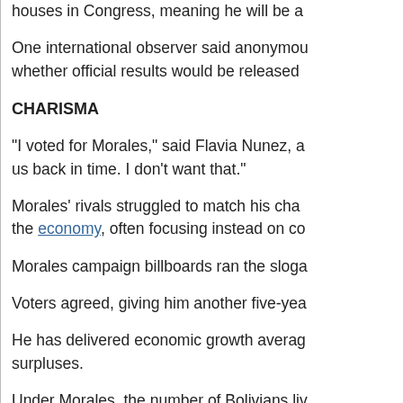houses in Congress, meaning he will be a...
One international observer said anonymou... whether official results would be released...
CHARISMA
"I voted for Morales," said Flavia Nunez, a... us back in time. I don't want that."
Morales' rivals struggled to match his cha... the economy, often focusing instead on co...
Morales campaign billboards ran the sloga...
Voters agreed, giving him another five-yea...
He has delivered economic growth averag... surpluses.
Under Morales, the number of Bolivians li... 10 million in 2006.
Even so, Bolivia remains one of the poore...